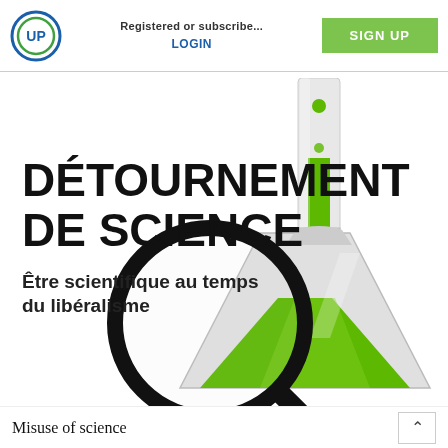Registered or subscribe... LOGIN   SIGNUP
[Figure (illustration): Book cover for 'Détournement de science – Être scientifique au temps du libéralisme'. Shows a green laboratory flask/Erlenmeyer flask with green liquid, and a large magnifying glass in the foreground, on a white background with bold black French title text.]
Misuse of science
^